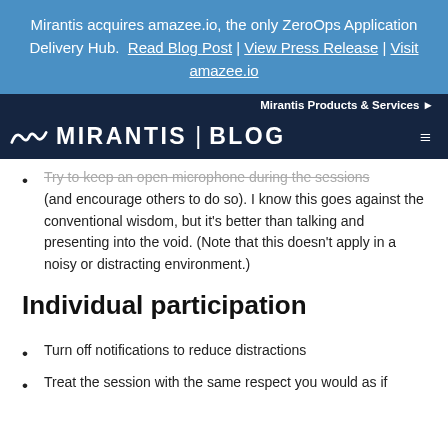Mirantis acquires amazee.io, the only ZeroOps Application Delivery Hub. Read Blog Post | View Press Release | Visit amazee.io
Mirantis Products & Services ▶
MIRANTIS | BLOG
Try to keep an open microphone during the sessions (and encourage others to do so). I know this goes against the conventional wisdom, but it's better than talking and presenting into the void. (Note that this doesn't apply in a noisy or distracting environment.)
Individual participation
Turn off notifications to reduce distractions
Treat the session with the same respect you would as if